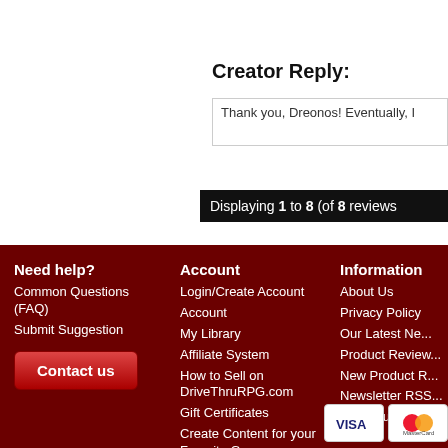Creator Reply:
Thank you, Dreonos! Eventually, I
Displaying 1 to 8 (of 8 reviews
Need help? Common Questions (FAQ) Submit Suggestion Contact us | Account Login/Create Account Account My Library Affiliate System How to Sell on DriveThruRPG.com Gift Certificates Create Content for your Favorite Games | Information About Us Privacy Policy Our Latest Ne... Product Review... New Product R... Newsletter RSS... Bug Bounty Pr...